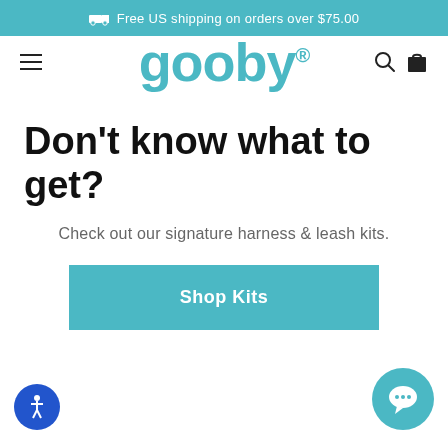Free US shipping on orders over $75.00
[Figure (logo): Gooby brand logo in teal/cyan color with registered trademark symbol]
Don't know what to get?
Check out our signature harness & leash kits.
Shop Kits